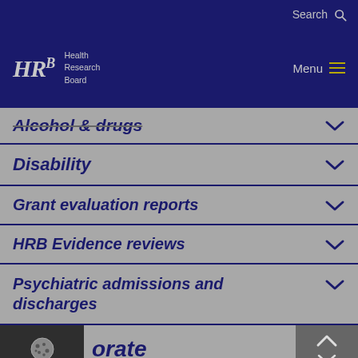Search
[Figure (logo): HRB Health Research Board logo with menu button]
Alcohol & drugs
Disability
Grant evaluation reports
HRB Evidence reviews
Psychiatric admissions and discharges
orate